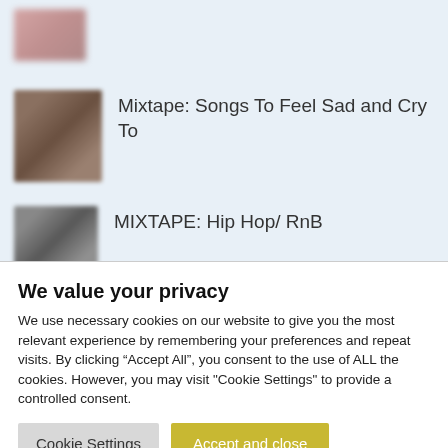[Figure (photo): Blurred thumbnail image at top of page, partially cropped]
Mixtape: Songs To Feel Sad and Cry To
MIXTAPE: Hip Hop/ RnB
We value your privacy
We use necessary cookies on our website to give you the most relevant experience by remembering your preferences and repeat visits. By clicking “Accept All”, you consent to the use of ALL the cookies. However, you may visit "Cookie Settings" to provide a controlled consent.
Cookie Settings | Accept and close